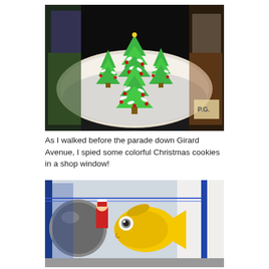[Figure (photo): Christmas tree-shaped sugar cookies with green icing, white and red candy decorations, displayed on a doily-covered tray in a shop window]
As I walked before the parade down Girard Avenue, I spied some colorful Christmas cookies in a shop window!
[Figure (photo): Colorful cartoon/illustrated floats or decorations including a fish character resembling Dr. Seuss artwork and other festive display items]